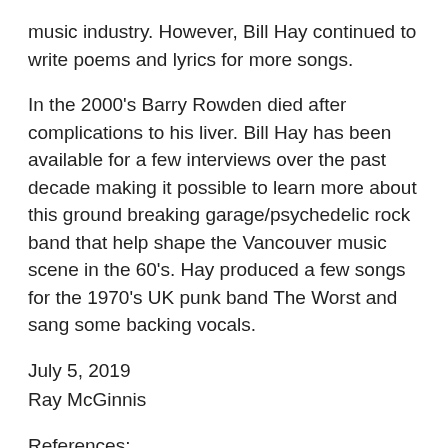music industry. However, Bill Hay continued to write poems and lyrics for more songs.
In the 2000's Barry Rowden died after complications to his liver. Bill Hay has been available for a few interviews over the past decade making it possible to learn more about this ground breaking garage/psychedelic rock band that help shape the Vancouver music scene in the 60's. Hay produced a few songs for the 1970's UK punk band The Worst and sang some backing vocals.
July 5, 2019
Ray McGinnis
References:
Klemen Breznikar, The Painted Ship Interview with Bill